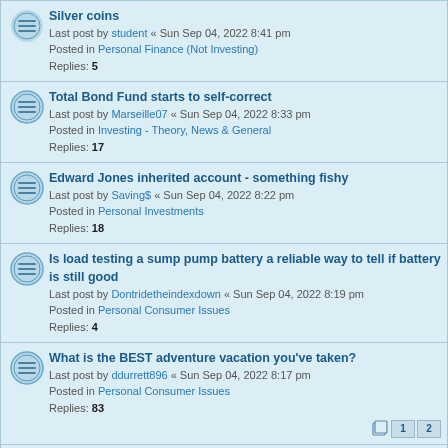Silver coins
Last post by student « Sun Sep 04, 2022 8:41 pm
Posted in Personal Finance (Not Investing)
Replies: 5
Total Bond Fund starts to self-correct
Last post by Marseille07 « Sun Sep 04, 2022 8:33 pm
Posted in Investing - Theory, News & General
Replies: 17
Edward Jones inherited account - something fishy
Last post by Saving$ « Sun Sep 04, 2022 8:22 pm
Posted in Personal Investments
Replies: 18
Is load testing a sump pump battery a reliable way to tell if battery is still good
Last post by Dontridetheindexdown « Sun Sep 04, 2022 8:19 pm
Posted in Personal Consumer Issues
Replies: 4
What is the BEST adventure vacation you've taken?
Last post by ddurrett896 « Sun Sep 04, 2022 8:17 pm
Posted in Personal Consumer Issues
Replies: 83
help us with the math? How much house can we afford in the current interest rate environment?
Last post by kumjan « Sun Sep 04, 2022 8:14 pm
Posted in Personal Finance (Not Investing)
Replies: 33
Master Thread for Metro Boston's Chapter
Last post by Dahlia45 « Sun Sep 04, 2022 8:02 pm
Posted in US Chapters
Replies: 100